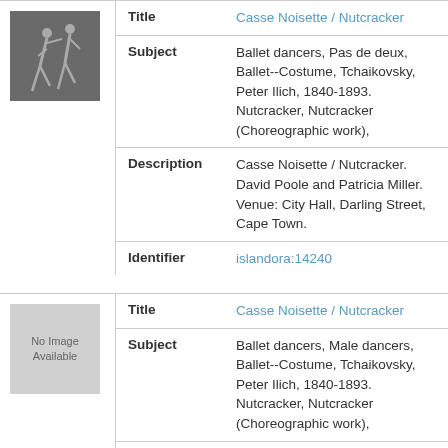[Figure (photo): Black and white photo of ballet dancers performing a pas de deux]
| Field | Value |
| --- | --- |
| Title | Casse Noisette / Nutcracker |
| Subject | Ballet dancers, Pas de deux, Ballet--Costume, Tchaikovsky, Peter Ilich, 1840-1893. Nutcracker, Nutcracker (Choreographic work), |
| Description | Casse Noisette / Nutcracker. David Poole and Patricia Miller. Venue: City Hall, Darling Street, Cape Town. |
| Identifier | islandora:14240 |
[Figure (other): No image available placeholder (grey box)]
| Field | Value |
| --- | --- |
| Title | Casse Noisette / Nutcracker |
| Subject | Ballet dancers, Male dancers, Ballet--Costume, Tchaikovsky, Peter Ilich, 1840-1893. Nutcracker, Nutcracker (Choreographic work), |
| Description | Casse Noisette / Nutcracker. David Poole. Venue: City Hall, Darling Street, Cape Town. |